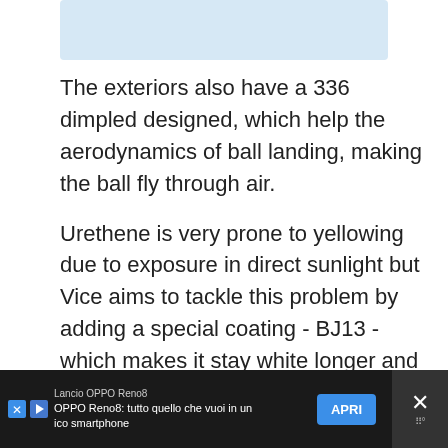[Figure (other): Light blue rectangular image placeholder at top of page]
The exteriors also have a 336 dimpled designed, which help the aerodynamics of ball landing, making the ball fly through air.
Urethene is very prone to yellowing due to exposure in direct sunlight but Vice aims to tackle this problem by adding a special coating - BJ13 - which makes it stay white longer and aid its visibility on track.
Lancio OPPO Reno8 | OPPO Reno8: tutto quello che vuoi in un unico smartphone | APRI